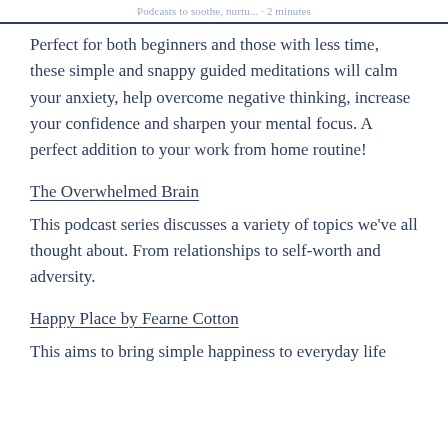Podcasts to soothe, nurtu... · 2 minutes
Perfect for both beginners and those with less time, these simple and snappy guided meditations will calm your anxiety, help overcome negative thinking, increase your confidence and sharpen your mental focus. A perfect addition to your work from home routine!
The Overwhelmed Brain
This podcast series discusses a variety of topics we've all thought about. From relationships to self-worth and adversity.
Happy Place by Fearne Cotton
This aims to bring simple happiness to everyday life